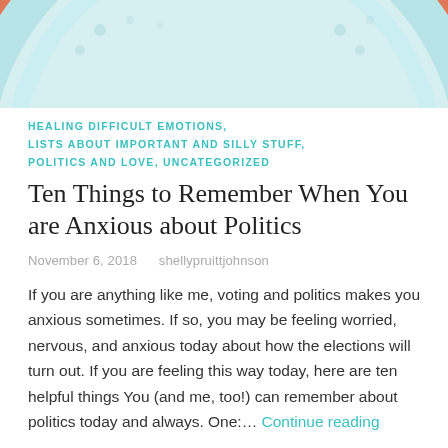[Figure (illustration): Partial view of a colorful illustration showing a rainbow arc (salmon/coral colored border) with a light blue/teal interior, cropped at top of page.]
HEALING DIFFICULT EMOTIONS, LISTS ABOUT IMPORTANT AND SILLY STUFF, POLITICS AND LOVE, UNCATEGORIZED
Ten Things to Remember When You are Anxious about Politics
November 6, 2018   shellypruittjohnson
If you are anything like me, voting and politics makes you anxious sometimes. If so, you may be feeling worried, nervous, and anxious today about how the elections will turn out. If you are feeling this way today, here are ten helpful things You (and me, too!) can remember about politics today and always. One:… Continue reading
Tagged How do we solve our political problems?, I am